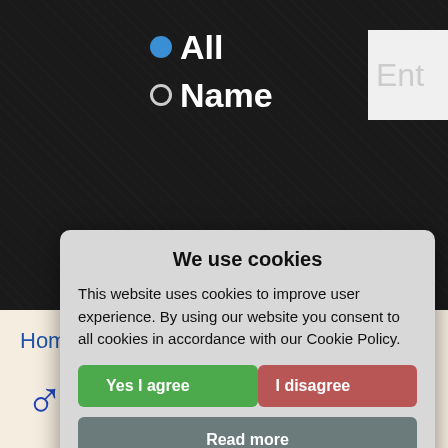[Figure (screenshot): Dark textured background with two radio buttons labeled 'All' (selected, blue filled) and 'Name' (unselected), and a partially visible text input box on the right.]
Home >
[Figure (screenshot): Cookie consent modal dialog with title 'We use cookies', body text about cookie policy, 'Yes I agree' (green) and 'I disagree' (red) buttons, a 'Read more' (grey) button, and footer text 'Free cookie consent by cookie-script.com'.]
♂ Maceo